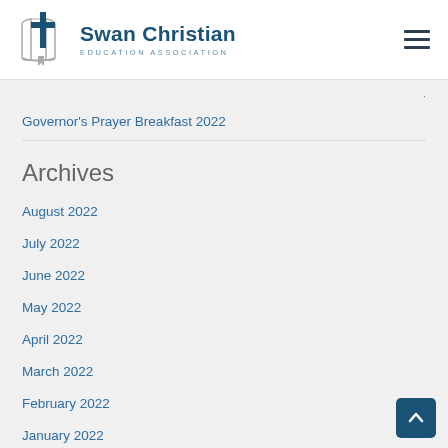[Figure (logo): Swan Christian Education Association logo with a cross and open book icon, blue text logo]
Governor's Prayer Breakfast 2022
Archives
August 2022
July 2022
June 2022
May 2022
April 2022
March 2022
February 2022
January 2022